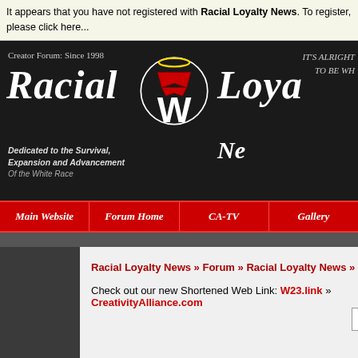It appears that you have not registered with Racial Loyalty News. To register, please click here...
[Figure (screenshot): Racial Loyalty News forum banner with dark background, old-English style 'Racial Loyalty News' text, a circular W logo with crown and halo, subtitle 'Dedicated to the Survival, Expansion and Advancement Of the White Race', and text 'IT'S ALRIGHT TO BE WH...' on the right.]
Main Website | Forum Home | CA-TV | Gallery
Racial Loyalty News » Forum » Racial Loyalty News » General N...
Check out our new Shortened Web Link: W23.link » CreativityAlliance.com
Next Rand...